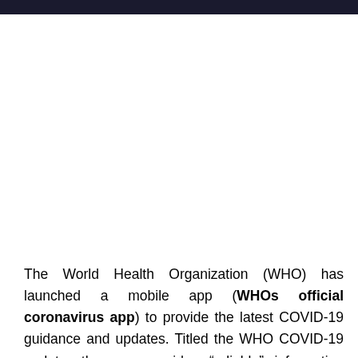The World Health Organization (WHO) has launched a mobile app (WHOs official coronavirus app) to provide the latest COVID-19 guidance and updates. Titled the WHO COVID-19 update, the app provides “reliable” information about the virus from health experts. However it does not offer features including